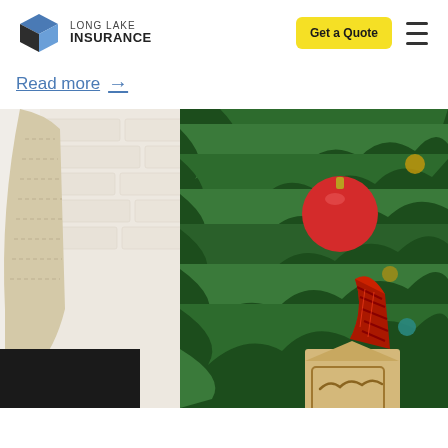Long Lake Insurance
Read more →
[Figure (photo): Close-up photo of a Christmas tree with green pine branches, a red ornament ball, a plaid ribbon ornament hanger with a wooden home-shaped ornament, and a white knit stocking hanging near a white brick fireplace mantel in the background.]